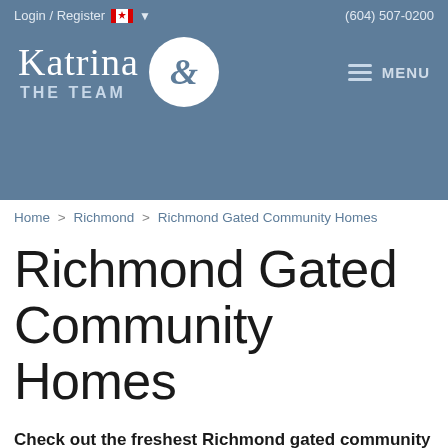Login / Register  (604) 507-0200
[Figure (logo): Katrina & The Team logo with ampersand in white circle on steel blue header background, with hamburger MENU icon on right]
Home > Richmond > Richmond Gated Community Homes
Richmond Gated Community Homes
Check out the freshest Richmond gated community homes for sale & real estate in Richmond below! Searching for more information on Richmond gated community homes? Arrange a gated home tour by contacting Katrina and the Team of RE/MAX 2000 Realty today.